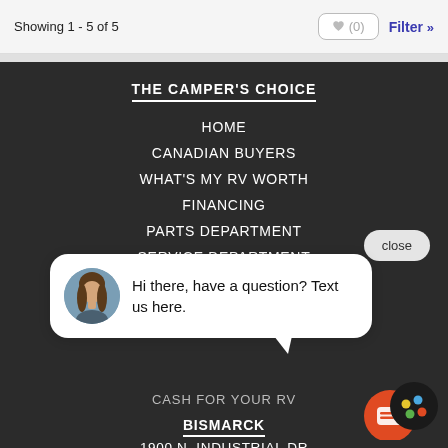Showing 1 - 5 of 5   ♥ (0)   Filter »
THE CAMPER'S CHOICE
HOME
CANADIAN BUYERS
WHAT'S MY RV WORTH
FINANCING
PARTS DEPARTMENT
SERVICE DEPARTMENT
close
Hi there, have a question? Text us here.
CASH FOR YOUR RV
BISMARCK
1900 N. INDUSTRIAL DR